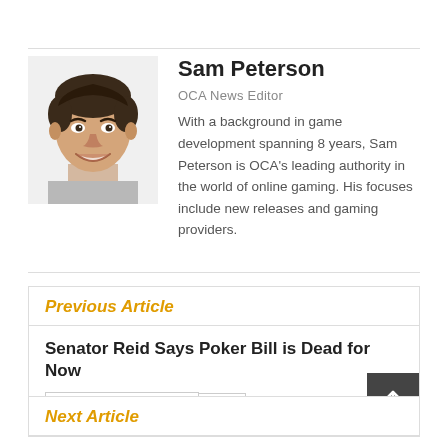[Figure (photo): Headshot photo of Sam Peterson, a young man with curly dark hair, smiling, wearing a grey t-shirt]
Sam Peterson
OCA News Editor
With a background in game development spanning 8 years, Sam Peterson is OCA's leading authority in the world of online gaming. His focuses include new releases and gaming providers.
Previous Article
Senator Reid Says Poker Bill is Dead for Now
DECEMBER 22, 2012   LAW
Next Article